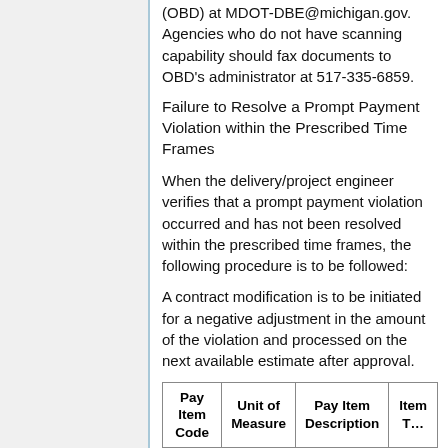(OBD) at MDOT-DBE@michigan.gov. Agencies who do not have scanning capability should fax documents to OBD’s administrator at 517-335-6859.
Failure to Resolve a Prompt Payment Violation within the Prescribed Time Frames
When the delivery/project engineer verifies that a prompt payment violation occurred and has not been resolved within the prescribed time frames, the following procedure is to be followed:
A contract modification is to be initiated for a negative adjustment in the amount of the violation and processed on the next available estimate after approval.
| Pay Item Code | Unit of Measure | Pay Item Description | Item T… |
| --- | --- | --- | --- |